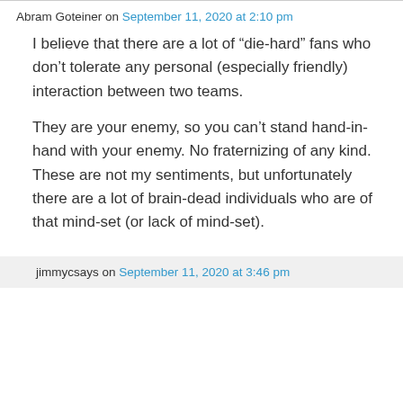Abram Goteiner on September 11, 2020 at 2:10 pm
I believe that there are a lot of “die-hard” fans who don’t tolerate any personal (especially friendly) interaction between two teams.
They are your enemy, so you can’t stand hand-in-hand with your enemy. No fraternizing of any kind. These are not my sentiments, but unfortunately there are a lot of brain-dead individuals who are of that mind-set (or lack of mind-set).
jimmycsays on September 11, 2020 at 3:46 pm